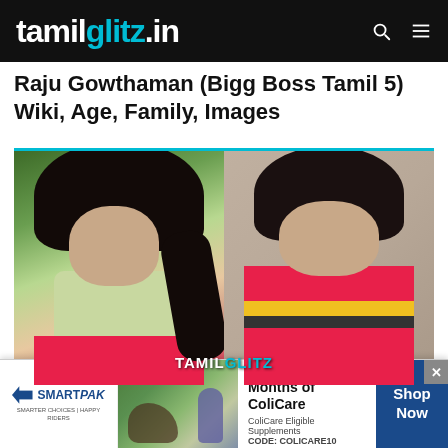tamilglitz.in
Raju Gowthaman (Bigg Boss Tamil 5) Wiki, Age, Family, Images
[Figure (photo): Two photos of Pavani Reddy side by side — left: woman in green top and pink skirt in outdoor setting, right: woman in colorful red yellow saree with arms crossed, with TAMILGLITZ watermark]
Pavani Reddy (Bigg Boss Tamil 5) Wiki,
SmartPak — 50% Off Two Months of ColiCare. ColiCare Eligible Supplements CODE: COLICARE10 Shop Now